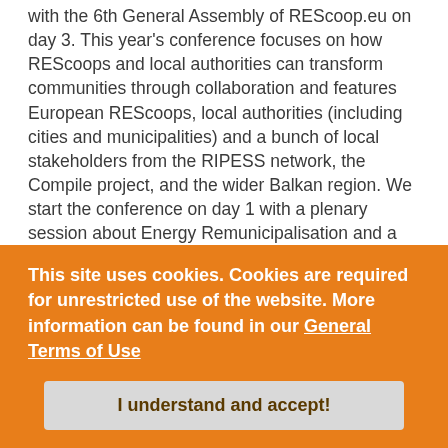with the 6th General Assembly of REScoop.eu on day 3. This year's conference focuses on how REScoops and local authorities can transform communities through collaboration and features European REScoops, local authorities (including cities and municipalities) and a bunch of local stakeholders from the RIPESS network, the Compile project, and the wider Balkan region. We start the conference on day 1 with a plenary session about Energy Remunicipalisation and a guided tour through Zagreb for REScoop.eu members. On day 2, REScoops and municipalities will present information on how to accelerate the energy transition at the local level.
This site uses cookies. Cookies are required for unrestricted use of the website. More information can be found in our General Terms of Use
I understand and accept!